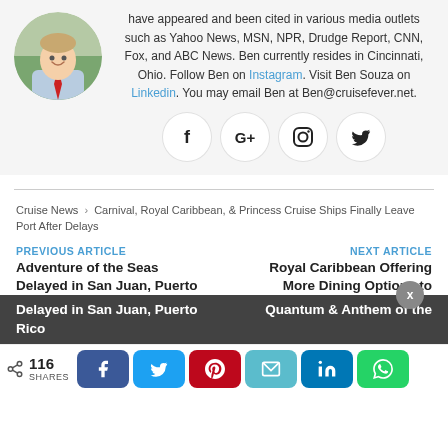have appeared and been cited in various media outlets such as Yahoo News, MSN, NPR, Drudge Report, CNN, Fox, and ABC News. Ben currently resides in Cincinnati, Ohio. Follow Ben on Instagram. Visit Ben Souza on Linkedin. You may email Ben at Ben@cruisefever.net.
[Figure (photo): Circular profile photo of Ben Souza, a man in a light blue shirt and red tie, smiling outdoors]
[Figure (infographic): Row of four social media icon circles: Facebook (f), Google+ (G+), Instagram (camera), Twitter (bird)]
Cruise News › Carnival, Royal Caribbean, & Princess Cruise Ships Finally Leave Port After Delays
PREVIOUS ARTICLE
NEXT ARTICLE
Adventure of the Seas Delayed in San Juan, Puerto Rico
Royal Caribbean Offering More Dining Options to Quantum & Anthem of the
116 SHARES